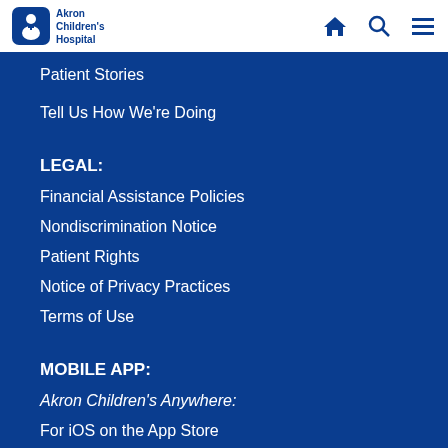[Figure (logo): Akron Children's Hospital logo with white rounded square icon and text]
Patient Stories
Tell Us How We're Doing
LEGAL:
Financial Assistance Policies
Nondiscrimination Notice
Patient Rights
Notice of Privacy Practices
Terms of Use
MOBILE APP:
Akron Children's Anywhere:
For iOS on the App Store
For Android On Google Play
ABOUT AKRON CHILDREN'S
While we are ranked among the best children's hospitals in the country, it's our compassionate approach to treatment that makes us truly exceptional. Through a combination of